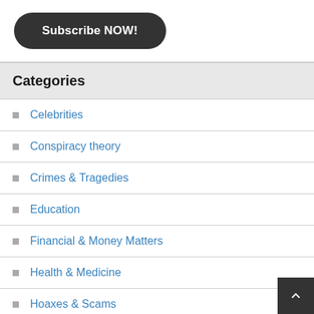[Figure (other): Subscribe NOW! button — dark rounded rectangle button with white bold text]
Categories
Celebrities
Conspiracy theory
Crimes & Tragedies
Education
Financial & Money Matters
Health & Medicine
Hoaxes & Scams
It's Funny. Laugh!